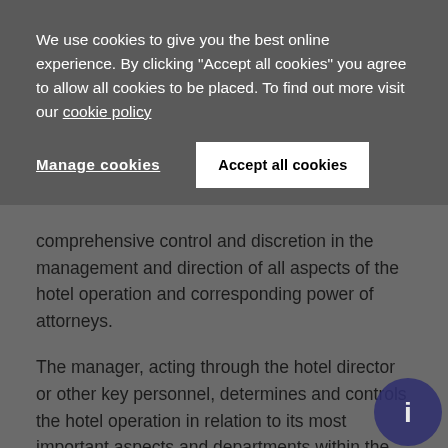We use cookies to give you the best online experience. By clicking "Accept all cookies" you agree to allow all cookies to be placed. To find out more visit our cookie policy
Manage cookies
Accept all cookies
comprehensive control and discretion in the management and direction of all aspects of the hotel operation and corresponding power of attorneys.
The manager, acting through the hotel director or other key personnel, determines and controls the hotel operation in relation to its most important aspects and departments within the standards, terms and conditions and limits established in the HMA. The